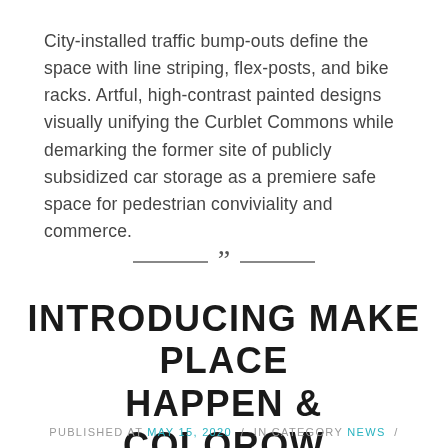City-installed traffic bump-outs define the space with line striping, flex-posts, and bike racks. Artful, high-contrast painted designs visually unifying the Curblet Commons while demarking the former site of publicly subsidized car storage as a premiere safe space for pedestrian conviviality and commerce.
INTRODUCING MAKE PLACE HAPPEN & COLOROW
PUBLISHED AT MAY 15, 2020 / IN CATEGORY NEWS /